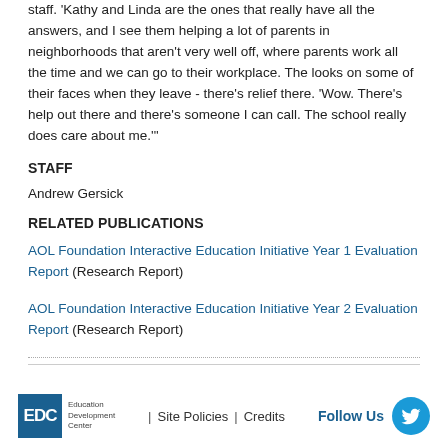staff. 'Kathy and Linda are the ones that really have all the answers, and I see them helping a lot of parents in neighborhoods that aren't very well off, where parents work all the time and we can go to their workplace. The looks on some of their faces when they leave - there's relief there. 'Wow. There's help out there and there's someone I can call. The school really does care about me.'''
STAFF
Andrew Gersick
RELATED PUBLICATIONS
AOL Foundation Interactive Education Initiative Year 1 Evaluation Report (Research Report)
AOL Foundation Interactive Education Initiative Year 2 Evaluation Report (Research Report)
EDC Education Development Center | Site Policies | Credits Follow Us